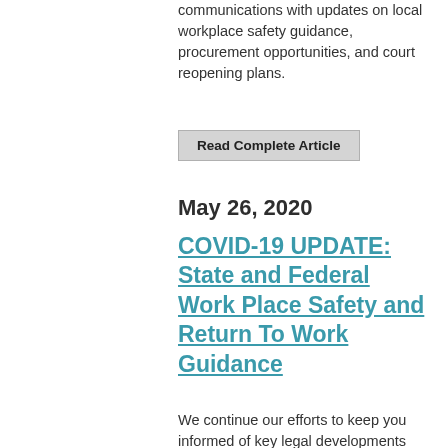communications with updates on local workplace safety guidance, procurement opportunities, and court reopening plans.
Read Complete Article
May 26, 2020
COVID-19 UPDATE: State and Federal Work Place Safety and Return To Work Guidance
We continue our efforts to keep you informed of key legal developments relating to COVID-